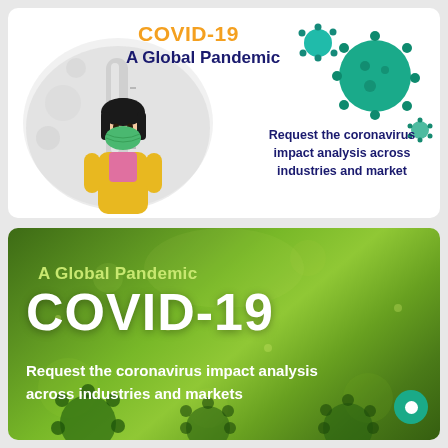[Figure (infographic): Top white panel: COVID-19 A Global Pandemic infographic with virus illustration, thermometer/pill background, masked person illustration, and text 'Request the coronavirus impact analysis across industries and market']
[Figure (infographic): Bottom green gradient panel: A Global Pandemic / COVID-19 headline with text 'Request the coronavirus impact analysis across industries and markets', coronavirus cell illustrations in background, teal circle button bottom right]